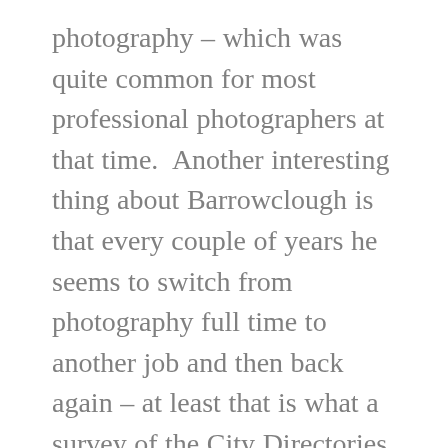photography – which was quite common for most professional photographers at that time.  Another interesting thing about Barrowclough is that every couple of years he seems to switch from photography full time to another job and then back again – at least that is what a survey of the City Directories of the time suggests.  For example, in the city directory for 1915 he is listed as a photographer,  in the 1916 directory, he is listed as a helper at BC Sugar Refining Co., and in 1917 he's listed as a photographer in active service. During WW1